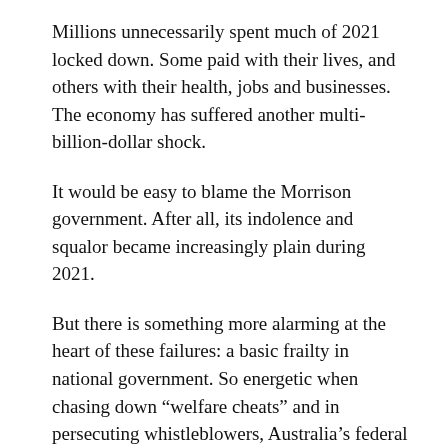Millions unnecessarily spent much of 2021 locked down. Some paid with their lives, and others with their health, jobs and businesses. The economy has suffered another multi-billion-dollar shock.
It would be easy to blame the Morrison government. After all, its indolence and squalor became increasingly plain during 2021.
But there is something more alarming at the heart of these failures: a basic frailty in national government. So energetic when chasing down “welfare cheats” and in persecuting whistleblowers, Australia’s federal government is just no longer very good at the hands-on delivery of anything of serious complexity.
The JobKeeper scheme acclaimed as a national